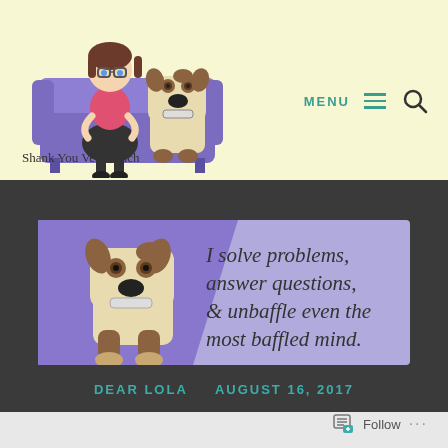[Figure (illustration): Blog logo: cartoon woman with glasses and brown hair sitting on a purple sofa next to a cartoon dog, with text 'Shank You Very Much' below]
[Figure (illustration): Navigation menu icon: teal 'MENU' text with three horizontal lines and a search/magnifier icon]
[Figure (illustration): Banner illustration: cartoon dog on purple/lavender background with italic text 'I solve problems, answer questions, & unbaffle even the most baffled mind.']
DEAR LOLA   AUGUST 16, 2017
Follow ...